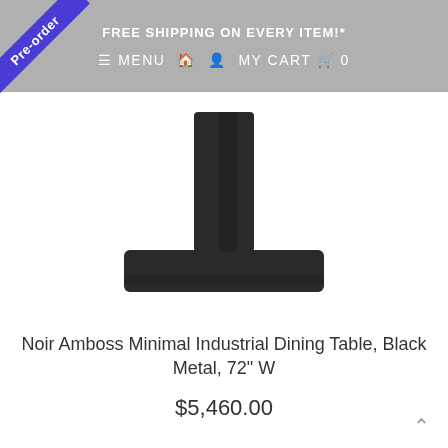FREE SHIPPING ON EVERY ITEM!*
≡ MENU  🏠  👤  MY CART  🛒  0
[Figure (photo): Black metal T-shaped pedestal base of a dining table, viewed from the front against a white background.]
Noir Amboss Minimal Industrial Dining Table, Black Metal, 72" W
$5,460.00